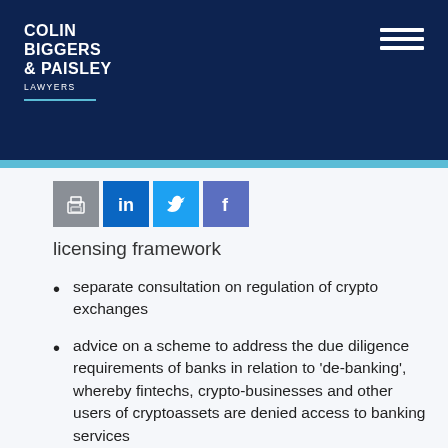COLIN BIGGERS & PAISLEY LAWYERS
licensing framework
separate consultation on regulation of crypto exchanges
advice on a scheme to address the due diligence requirements of banks in relation to 'de-banking', whereby fintechs, crypto-businesses and other users of cryptoassets are denied access to banking services
consultation on a licensing framework for Digital Currency Exchanges and an appropriate custody or depository regulatory